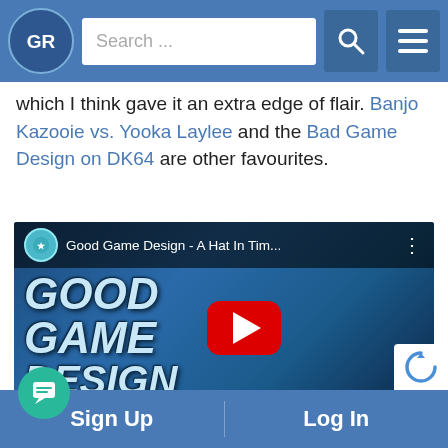[Figure (screenshot): Website header navigation bar with GR logo circle, search box reading 'Search ...', search icon button, and hamburger menu icon button on blue background]
which I think gave it an extra edge of flair. Banjo Kazooie vs. Yooka Laylee and the Bad Game Design on DK64 are other favourites.
[Figure (screenshot): YouTube video embed thumbnail for 'Good Game Design - A Hat In Tim...' showing animated character with hat and 'GOOD GAME DESIGN' title text with YouTube play button overlay]
Sign Up   Log In